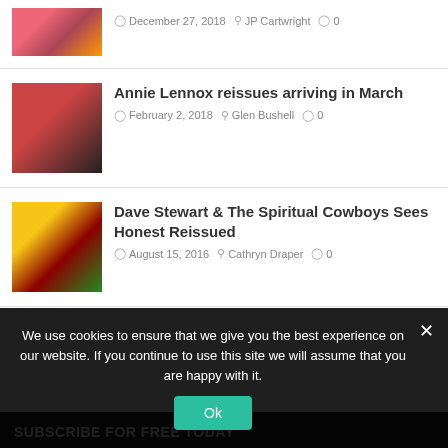[Figure (photo): Colorful artwork thumbnail for Cave, Lulu, Three Degrees article]
December 27, 2018  JP Cartwright  0
[Figure (photo): Annie Lennox portrait photo]
Annie Lennox reissues arriving in March
February 2, 2018  Glen Bushell  0
[Figure (photo): Yellow and red roses photo for Dave Stewart article]
Dave Stewart & The Spiritual Cowboys Sees Honest Reissued
August 15, 2016  Cathryn Draper  0
SUBSCRIBE FOR FREE TODAY
We use cookies to ensure that we give you the best experience on our website. If you continue to use this site we will assume that you are happy with it.
Ok